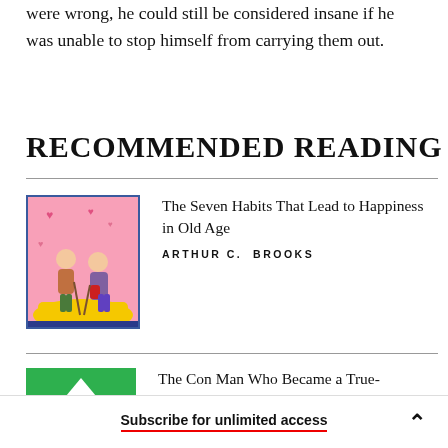were wrong, he could still be considered insane if he was unable to stop himself from carrying them out.
RECOMMENDED READING
[Figure (illustration): Book cover illustration showing two elderly people walking together, one with a cane, against a pink background with hearts]
The Seven Habits That Lead to Happiness in Old Age
ARTHUR C. BROOKS
[Figure (illustration): Partial book cover showing a green background with a white house roof/triangle shape]
The Con Man Who Became a True-
Subscribe for unlimited access